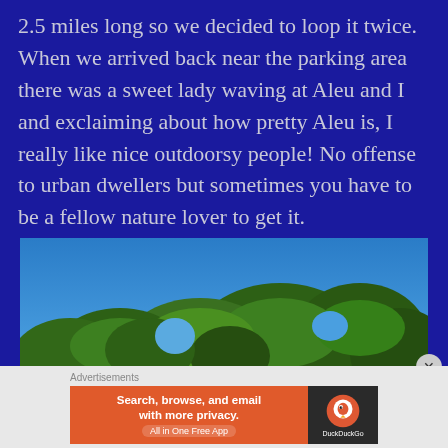2.5 miles long so we decided to loop it twice. When we arrived back near the parking area there was a sweet lady waving at Aleu and I and exclaiming about how pretty Aleu is, I really like nice outdoorsy people! No offense to urban dwellers but sometimes you have to be a fellow nature lover to get it.
[Figure (photo): Outdoor photo showing tall green trees with dense foliage against a clear blue sky, taken from a low angle looking up.]
Advertisements
[Figure (screenshot): DuckDuckGo advertisement banner. Left side orange with text 'Search, browse, and email with more privacy. All in One Free App'. Right side dark with DuckDuckGo logo.]